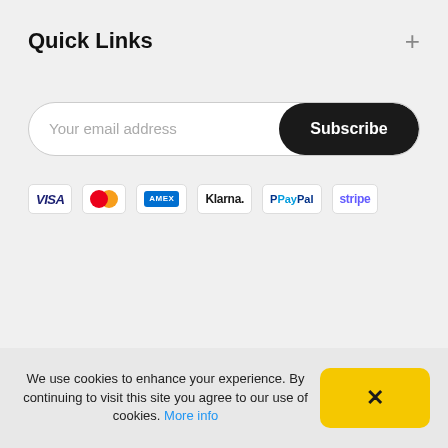Quick Links
[Figure (infographic): Email subscription input with 'Your email address' placeholder and a dark 'Subscribe' button on the right, styled as a pill/rounded rectangle]
[Figure (infographic): Row of payment method logos: VISA, Mastercard, American Express, Klarna, PayPal, Stripe]
We use cookies to enhance your experience. By continuing to visit this site you agree to our use of cookies. More info